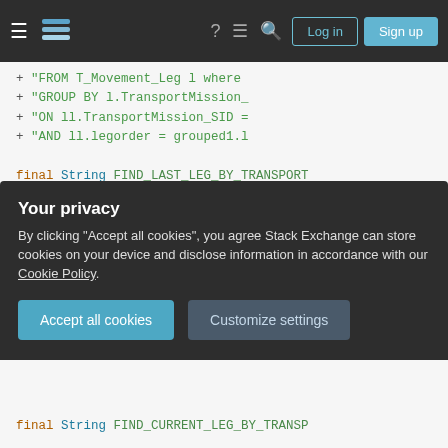Stack Exchange navigation bar with Log in and Sign up buttons
[Figure (screenshot): Code snippet showing Java string constants with SQL queries including FIND_LAST_LEG_BY_TRANSPORT and FIND_PREVIOUS_LEG_BY_TRANS with FROM T_Movement_Leg, INNER JOIN, GROUP BY, ON and AND clauses]
Your privacy
By clicking "Accept all cookies", you agree Stack Exchange can store cookies on your device and disclose information in accordance with our Cookie Policy.
Accept all cookies   Customize settings